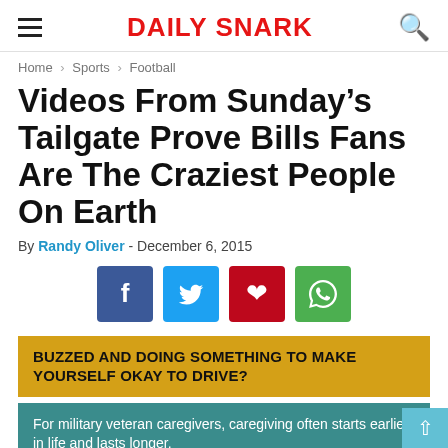Daily Snark
Home › Sports › Football
Videos From Sunday's Tailgate Prove Bills Fans Are The Craziest People On Earth
By Randy Oliver - December 6, 2015
[Figure (infographic): Social share buttons: Facebook (blue), Twitter (light blue), Pinterest (red), WhatsApp (green)]
BUZZED AND DOING SOMETHING TO MAKE YOURSELF OKAY TO DRIVE?
For military veteran caregivers, caregiving often starts earlier in life and lasts longer.